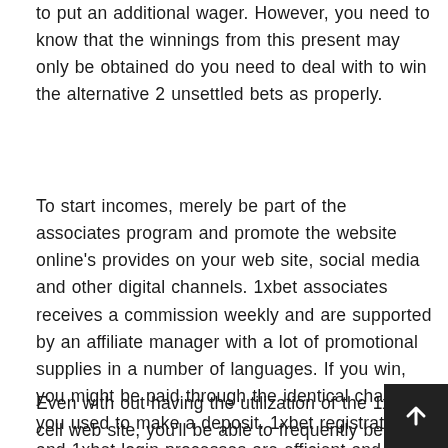to put an additional wager. However, you need to know that the winnings from this present may only be obtained do you need to deal with to win the alternative 2 unsettled bets as properly.
To start incomes, merely be part of the associates program and promote the website online's provides on your web site, social media and other digital channels. 1xbet associates receives a commission weekly and are supported by an affiliate manager with a lot of promotional supplies in a number of languages. If you win, you might be paid through the identical channels you used to make a deposit. 1xbet registration and 1xbet login processes are efficient and simple to finish.
Even with out having the utilization of the 1xbet cell web site, you'll be able to frequently be prepared to obtain a good monetary reward. Usually do not miss this chance, get in